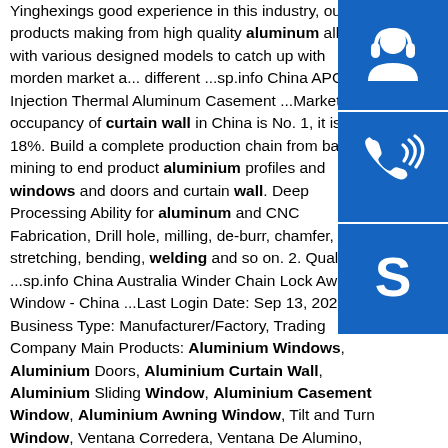Yinghexings good experience in this industry, our products making from high quality aluminum alloy with various designed models to catch up with morden market a... different ...sp.info China APG55b Injection Thermal Aluminum Casement ...Marketing occupancy of curtain wall in China is No. 1, it is 18%. Build a complete production chain from bauxite mining to end product aluminium profiles and windows and doors and curtain wall. Deep Processing Ability for aluminum and CNC Fabrication, Drill hole, milling, de-burr, chamfer, stretching, bending, welding and so on. 2. Quality ...sp.info China Australia Winder Chain Lock Awning Window - China ...Last Login Date: Sep 13, 2021 Business Type: Manufacturer/Factory, Trading Company Main Products: Aluminium Windows, Aluminium Doors, Aluminium Curtain Wall, Aluminium Sliding Window, Aluminium Casement Window, Aluminium Awning Window, Tilt and Turn Window, Ventana Corredera, Ventana De Alumino, Aluminium Bifolding Dooren.info Elyscreon...
[Figure (illustration): Three blue square buttons on the right side: customer service headset icon, phone/call icon, and Skype icon]